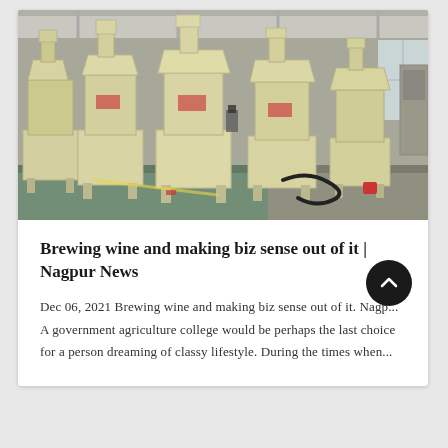[Figure (photo): Industrial machinery — multiple large cream/beige colored cone crusher or sand-making machines arranged in a row inside a factory/warehouse with a green-painted floor and steel structure roof.]
Brewing wine and making biz sense out of it | Nagpur News
Dec 06, 2021 Brewing wine and making biz sense out of it. Nagp... A government agriculture college would be perhaps the last choice for a person dreaming of classy lifestyle. During the times when...